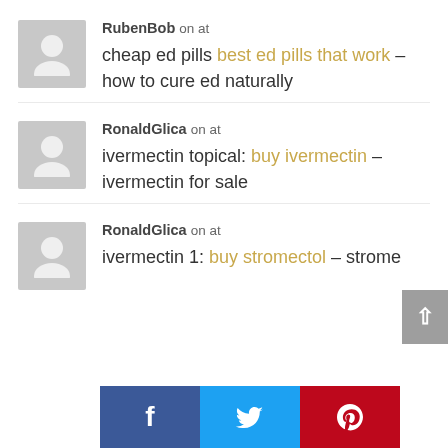RubenBob on at — cheap ed pills best ed pills that work – how to cure ed naturally
RonaldGlica on at — ivermectin topical: buy ivermectin – ivermectin for sale
RonaldGlica on at — ivermectin 1: buy stromectol – strome...